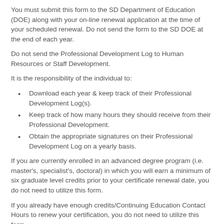You must submit this form to the SD Department of Education (DOE) along with your on-line renewal application at the time of your scheduled renewal. Do not send the form to the SD DOE at the end of each year.
Do not send the Professional Development Log to Human Resources or Staff Development.
It is the responsibility of the individual to:
Download each year & keep track of their Professional Development Log(s).
Keep track of how many hours they should receive from their Professional Development.
Obtain the appropriate signatures on their Professional Development Log on a yearly basis.
If you are currently enrolled in an advanced degree program (i.e. master's, specialist's, doctoral) in which you will earn a minimum of six graduate level credits prior to your certificate renewal date, you do not need to utilize this form.
If you already have enough credits/Continuing Education Contact Hours to renew your certification, you do not need to utilize this form.